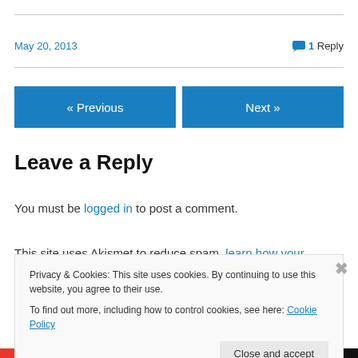May 20, 2013
1 Reply
« Previous
Next »
Leave a Reply
You must be logged in to post a comment.
This site uses Akismet to reduce spam. learn how your
Privacy & Cookies: This site uses cookies. By continuing to use this website, you agree to their use.
To find out more, including how to control cookies, see here: Cookie Policy
Close and accept